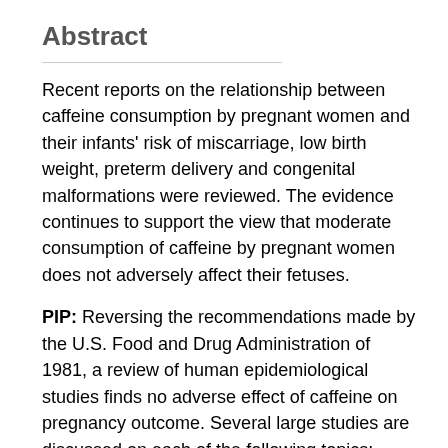Abstract
Recent reports on the relationship between caffeine consumption by pregnant women and their infants' risk of miscarriage, low birth weight, preterm delivery and congenital malformations were reviewed. The evidence continues to support the view that moderate consumption of caffeine by pregnant women does not adversely affect their fetuses.
PIP: Reversing the recommendations made by the U.S. Food and Drug Administration of 1981, a review of human epidemiological studies finds no adverse effect of caffeine on pregnancy outcome. Several large studies are discussed on each of the following topics: congenital malformations, miscarriage, low birth weight and preterm delivery. The previous warning was based on gavage feeding of large doses of caffeine to rats, and found a particularly high incidence of facial cleft. Congenital malformations were examined in studies of 12,000